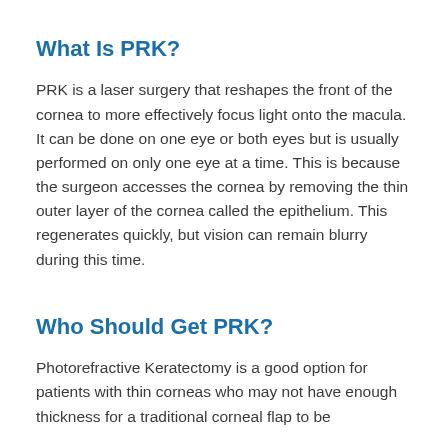What Is PRK?
PRK is a laser surgery that reshapes the front of the cornea to more effectively focus light onto the macula. It can be done on one eye or both eyes but is usually performed on only one eye at a time. This is because the surgeon accesses the cornea by removing the thin outer layer of the cornea called the epithelium. This regenerates quickly, but vision can remain blurry during this time.
Who Should Get PRK?
Photorefractive Keratectomy is a good option for patients with thin corneas who may not have enough thickness for a traditional corneal flap to be